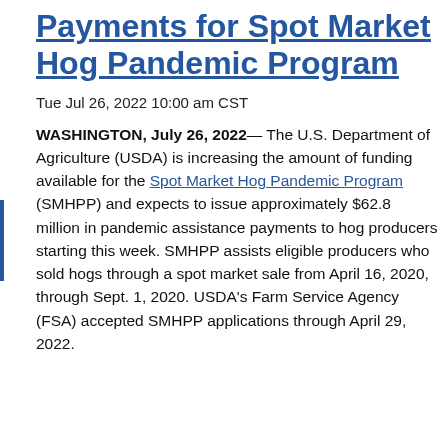Payments for Spot Market Hog Pandemic Program
Tue Jul 26, 2022 10:00 am CST
WASHINGTON, July 26, 2022— The U.S. Department of Agriculture (USDA) is increasing the amount of funding available for the Spot Market Hog Pandemic Program (SMHPP) and expects to issue approximately $62.8 million in pandemic assistance payments to hog producers starting this week. SMHPP assists eligible producers who sold hogs through a spot market sale from April 16, 2020, through Sept. 1, 2020. USDA's Farm Service Agency (FSA) accepted SMHPP applications through April 29, 2022.